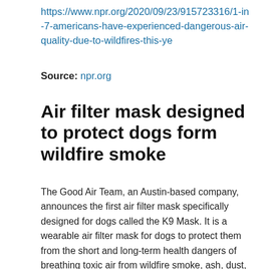https://www.npr.org/2020/09/23/915723316/1-in-7-americans-have-experienced-dangerous-air-quality-due-to-wildfires-this-ye
Source: npr.org
Air filter mask designed to protect dogs form wildfire smoke
The Good Air Team, an Austin-based company, announces the first air filter mask specifically designed for dogs called the K9 Mask. It is a wearable air filter mask for dogs to protect them from the short and long-term health dangers of breathing toxic air from wildfire smoke, ash, dust, smog, chemicals, pollen, allergens, ozone, and bacteria. Dog owners in an extreme air pollution crisis can now choose pure air for their dogs.